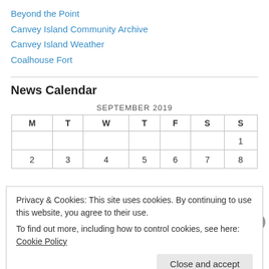Beyond the Point
Canvey Island Community Archive
Canvey Island Weather
Coalhouse Fort
News Calendar
| M | T | W | T | F | S | S |
| --- | --- | --- | --- | --- | --- | --- |
|  |  |  |  |  |  | 1 |
| 2 | 3 | 4 | 5 | 6 | 7 | 8 |
Privacy & Cookies: This site uses cookies. By continuing to use this website, you agree to their use.
To find out more, including how to control cookies, see here: Cookie Policy
Close and accept